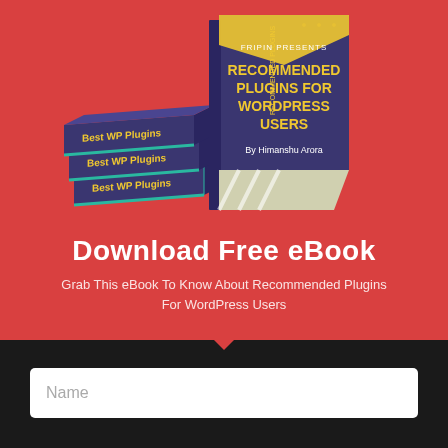[Figure (illustration): Stack of books titled 'Best WP Plugins' on the left and a standing book titled 'Recommended Plugins for WordPress Users by Himanshu Arora' on the right, on a red background]
Download Free eBook
Grab This eBook To Know About Recommended Plugins For WordPress Users
Name